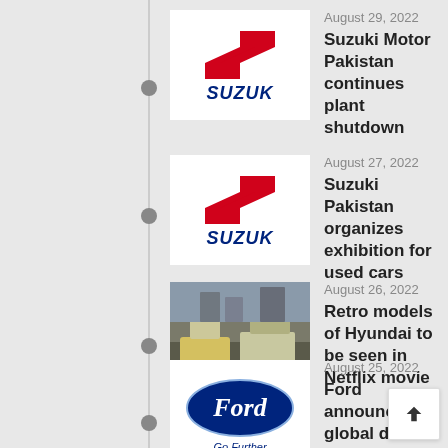August 29, 2022 — Suzuki Motor Pakistan continues plant shutdown
August 27, 2022 — Suzuki Pakistan organizes exhibition for used cars
August 26, 2022 — Retro models of Hyundai to be seen in Netflix movie
August 25, 2022 — Ford announces global de… of 7th generation Mustan…